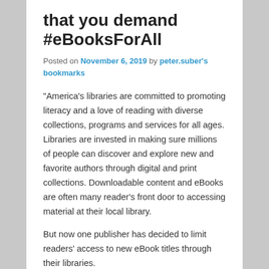that you demand #eBooksForAll
Posted on November 6, 2019 by peter.suber's bookmarks
“America’s libraries are committed to promoting literacy and a love of reading with diverse collections, programs and services for all ages. Libraries are invested in making sure millions of people can discover and explore new and favorite authors through digital and print collections. Downloadable content and eBooks are often many reader’s front door to accessing material at their local library.
But now one publisher has decided to limit readers’ access to new eBook titles through their libraries.
Beginning November 1, 2019, Macmillan Publishers allows libraries—no matter the size of their city or town—to purchase only one copy of each new eBook title for the